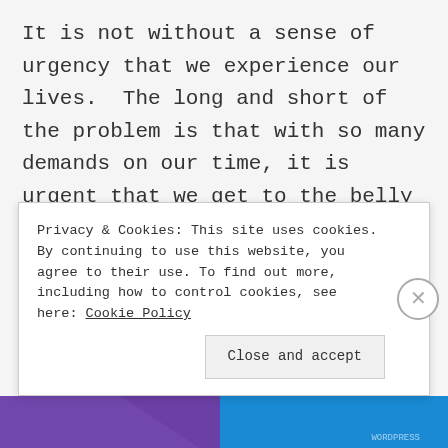It is not without a sense of urgency that we experience our lives.  The long and short of the problem is that with so many demands on our time, it is urgent that we get to the belly of the beast and keep crossing items off our to-do lists.

When I think of everything in life that has been competing in and I
Privacy & Cookies: This site uses cookies. By continuing to use this website, you agree to their use. To find out more, including how to control cookies, see here: Cookie Policy
Close and accept